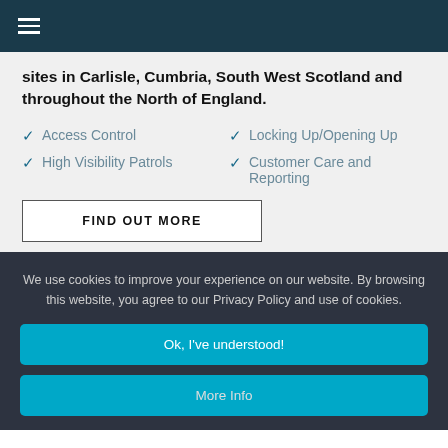Navigation menu (hamburger icon)
sites in Carlisle, Cumbria, South West Scotland and throughout the North of England.
Access Control
High Visibility Patrols
Locking Up/Opening Up
Customer Care and Reporting
FIND OUT MORE
We use cookies to improve your experience on our website. By browsing this website, you agree to our Privacy Policy and use of cookies.
Ok, I've understood!
More Info